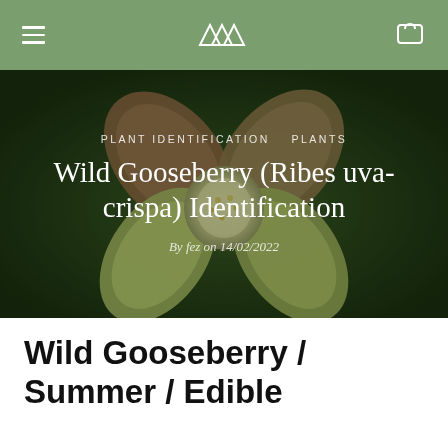≡  ▲▲▲  🛍
[Figure (photo): Close-up macro photo of a Wild Gooseberry (Ribes uva-crispa) flower with yellowish-green and reddish-pink petals against a dark green blurred background]
PLANT IDENTIFICATION   PLANTS
Wild Gooseberry (Ribes uva-crispa) Identification
By fez on 14/02/2022
Wild Gooseberry / Summer / Edible